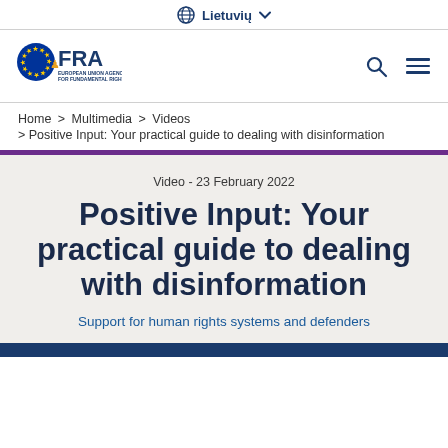Lietuvių
[Figure (logo): FRA - European Union Agency for Fundamental Rights logo with EU stars emblem]
Home > Multimedia > Videos
> Positive Input: Your practical guide to dealing with disinformation
Video - 23 February 2022
Positive Input: Your practical guide to dealing with disinformation
Support for human rights systems and defenders